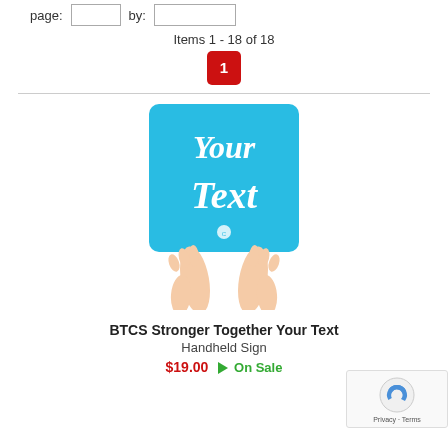page:   [input]   by:   [input]
Items 1 - 18 of 18
1
[Figure (photo): Person holding a light blue square handheld sign with white script text reading 'Your Text' and a small logo at the bottom center]
BTCS Stronger Together Your Text
Handheld Sign
$19.00  On Sale